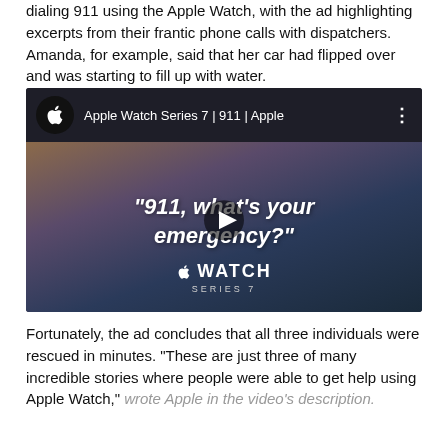dialing 911 using the Apple Watch, with the ad highlighting excerpts from their frantic phone calls with dispatchers. Amanda, for example, said that her car had flipped over and was starting to fill up with water.
[Figure (screenshot): YouTube video thumbnail/player for 'Apple Watch Series 7 | 911 | Apple' showing the Apple logo in a circle, video title, three-dot menu, and a dark cinematic background with the text '"911, what's your emergency?"' overlaid, a play button in the center, and Apple Watch branding at the bottom with 'WATCH SERIES 7'.]
Fortunately, the ad concludes that all three individuals were rescued in minutes. "These are just three of many incredible stories where people were able to get help using Apple Watch," wrote Apple in the video's description.